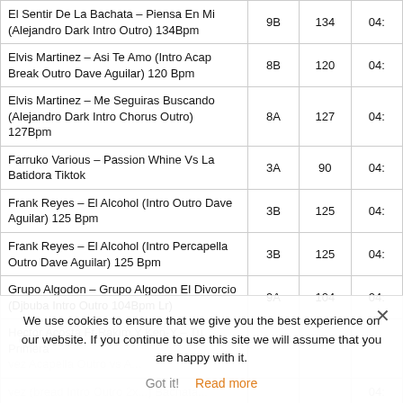| Title | Key | BPM | Duration |
| --- | --- | --- | --- |
| El Sentir De La Bachata – Piensa En Mi (Alejandro Dark Intro Outro) 134Bpm | 9B | 134 | 04: |
| Elvis Martinez – Asi Te Amo (Intro Acap Break Outro Dave Aguilar) 120 Bpm | 8B | 120 | 04: |
| Elvis Martinez – Me Seguiras Buscando (Alejandro Dark Intro Chorus Outro) 127Bpm | 8A | 127 | 04: |
| Farruko Various – Passion Whine Vs La Batidora Tiktok | 3A | 90 | 04: |
| Frank Reyes – El Alcohol (Intro Outro Dave Aguilar) 125 Bpm | 3B | 125 | 04: |
| Frank Reyes – El Alcohol (Intro Percapella Outro Dave Aguilar) 125 Bpm | 3B | 125 | 04: |
| Grupo Algodon – Grupo Algodon El Divorcio (Djbuba Intro Outro 104Bpm Lr) | 9A | 104 | 04: |
| Hector Acosta Ft Rakim Y Ken-Y – Tu Primera... (Acapella Outro) ... |  |  |  |
| ... (Bread Intro Outro 2x...) ... |  |  | 04: |
| Ivy Queen – Ivy Queen To Me Quality – 12 IIr |  |  |  |
We use cookies to ensure that we give you the best experience on our website. If you continue to use this site we will assume that you are happy with it.